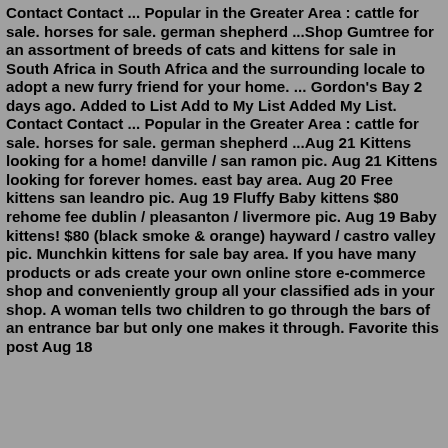Contact Contact ... Popular in the Greater Area : cattle for sale. horses for sale. german shepherd ...Shop Gumtree for an assortment of breeds of cats and kittens for sale in South Africa in South Africa and the surrounding locale to adopt a new furry friend for your home. ... Gordon's Bay 2 days ago. Added to List Add to My List Added My List. Contact Contact ... Popular in the Greater Area : cattle for sale. horses for sale. german shepherd ...Aug 21 Kittens looking for a home! danville / san ramon pic. Aug 21 Kittens looking for forever homes. east bay area. Aug 20 Free kittens san leandro pic. Aug 19 Fluffy Baby kittens $80 rehome fee dublin / pleasanton / livermore pic. Aug 19 Baby kittens! $80 (black smoke & orange) hayward / castro valley pic. Munchkin kittens for sale bay area. If you have many products or ads create your own online store e-commerce shop and conveniently group all your classified ads in your shop. A woman tells two children to go through the bars of an entrance bar but only one makes it through. Favorite this post Aug 18